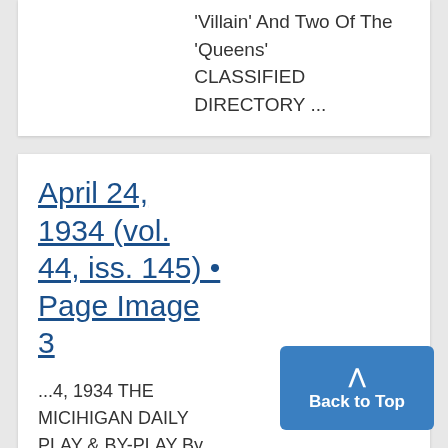'Villain' And Two Of The 'Queens' CLASSIFIED DIRECTORY ...
April 24, 1934 (vol. 44, iss. 145) • Page Image 3
...4, 1934 THE MICIHIGAN DAILY PLAY & BY-PLAY By AL NEWMAN Man-Hunting RECENTLY th